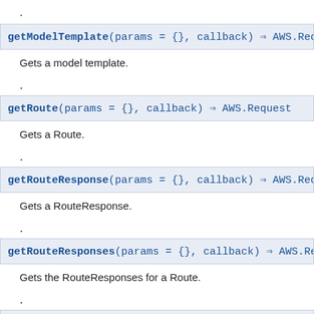.
getModelTemplate(params = {}, callback) ⇒ AWS.Request
Gets a model template.
.
getRoute(params = {}, callback) ⇒ AWS.Request
Gets a Route.
.
getRouteResponse(params = {}, callback) ⇒ AWS.Request
Gets a RouteResponse.
.
getRouteResponses(params = {}, callback) ⇒ AWS.Request
Gets the RouteResponses for a Route.
.
getRoutes(params = {}, callback) ⇒ AWS.Request